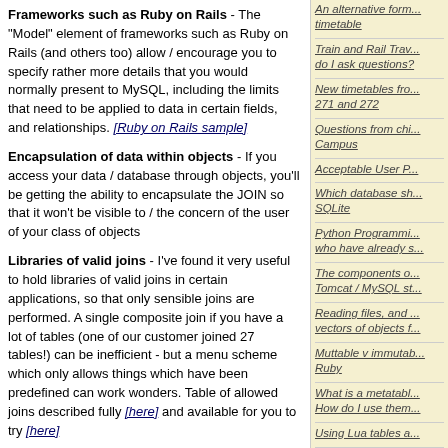Frameworks such as Ruby on Rails - The "Model" element of frameworks such as Ruby on Rails (and others too) allow / encourage you to specify rather more details that you would normally present to MySQL, including the limits that need to be applied to data in certain fields, and relationships. [Ruby on Rails sample]
Encapsulation of data within objects - If you access your data / database through objects, you'll be getting the ability to encapsulate the JOIN so that it won't be visible to / the concern of the user of your class of objects
Libraries of valid joins - I've found it very useful to hold libraries of valid joins in certain applications, so that only sensible joins are performed. A single composite join if you have a lot of tables (one of our customer joined 27 tables!) can be inefficient - but a menu scheme which only allows things which have been predefined can work wonders. Table of allowed joins described fully [here] and available for you to try [here]
(written 2010-05-02)
Associated topics are indexed as below, or enter http://melksh.am/nnnn for individual articles
S163 - Stored Procedures in MySQL
[2446] Learn about MySQL stored procedures - (2009-10-09)
An alternative form... timetable
Train and Rail Trav... do I ask questions?
New timetables fro... 271 and 272
Questions from chi... Campus
Acceptable User P...
Which database sh... SQLite
Python Programmi... who have already s...
The components o... Tomcat / MySQL st...
Reading files, and ... vectors of objects f...
Muttable v immutab... Ruby
What is a metatabl... How do I use them...
Using Lua tables a...
Lua Tables
Special method... metatables